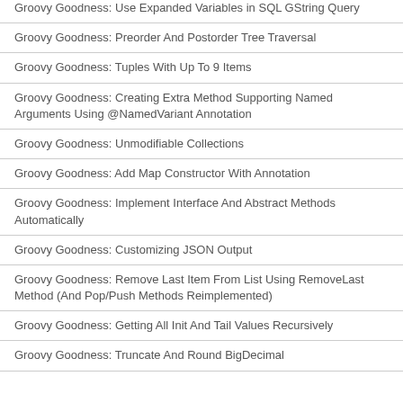Groovy Goodness: Use Expanded Variables in SQL GString Query
Groovy Goodness: Preorder And Postorder Tree Traversal
Groovy Goodness: Tuples With Up To 9 Items
Groovy Goodness: Creating Extra Method Supporting Named Arguments Using @NamedVariant Annotation
Groovy Goodness: Unmodifiable Collections
Groovy Goodness: Add Map Constructor With Annotation
Groovy Goodness: Implement Interface And Abstract Methods Automatically
Groovy Goodness: Customizing JSON Output
Groovy Goodness: Remove Last Item From List Using RemoveLast Method (And Pop/Push Methods Reimplemented)
Groovy Goodness: Getting All Init And Tail Values Recursively
Groovy Goodness: Truncate And Round BigDecimal